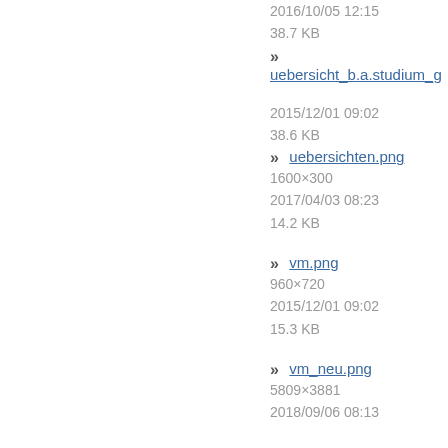2016/10/05 12:15
38.7 KB
» uebersicht_b.a.studium_g…
2015/12/01 09:02
38.6 KB
» uebersichten.png
1600×300
2017/04/03 08:23
14.2 KB
» vm.png
960×720
2015/12/01 09:02
15.3 KB
» vm_neu.png
5809×3881
2018/09/06 08:13